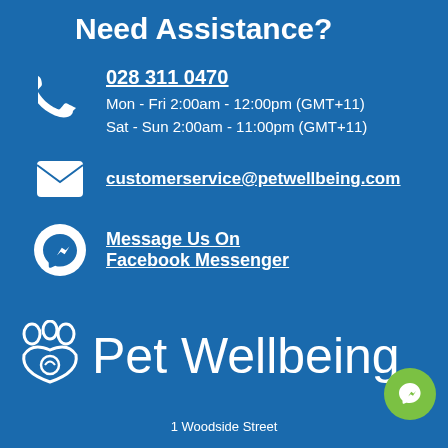Need Assistance?
028 311 0470
Mon - Fri 2:00am - 12:00pm (GMT+11)
Sat - Sun 2:00am - 11:00pm (GMT+11)
customerservice@petwellbeing.com
Message Us On Facebook Messenger
[Figure (logo): Pet Wellbeing logo with paw print icon]
1 Woodside Street